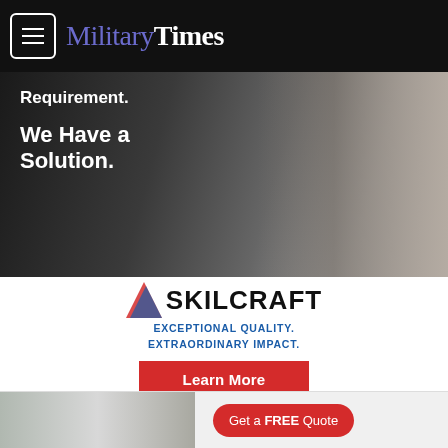MilitaryTimes
[Figure (photo): Advertisement image showing a person with text overlay reading 'Requirement. We Have a Solution.' - Skilcraft advertisement]
[Figure (logo): SKILCRAFT logo with chevron/arrow icon and text 'EXCEPTIONAL QUALITY. EXTRAORDINARY IMPACT.' with a red Learn More button]
Lawmakers also included $1.9 billion for homelessness assistance programs targeting veterans, about $40 million above what the president requested.
[Figure (photo): Bottom advertisement showing a kitchen interior with a 'Get a FREE Quote' button]